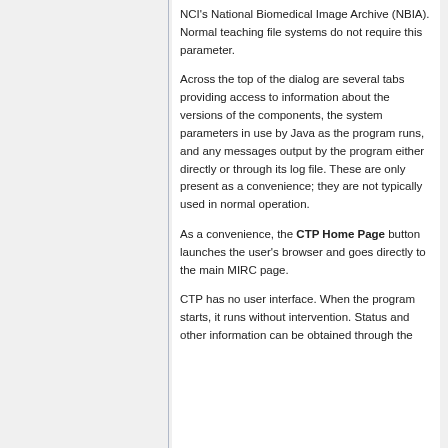NCI's National Biomedical Image Archive (NBIA). Normal teaching file systems do not require this parameter.
Across the top of the dialog are several tabs providing access to information about the versions of the components, the system parameters in use by Java as the program runs, and any messages output by the program either directly or through its log file. These are only present as a convenience; they are not typically used in normal operation.
As a convenience, the CTP Home Page button launches the user's browser and goes directly to the main MIRC page.
CTP has no user interface. When the program starts, it runs without intervention. Status and other information can be obtained through the